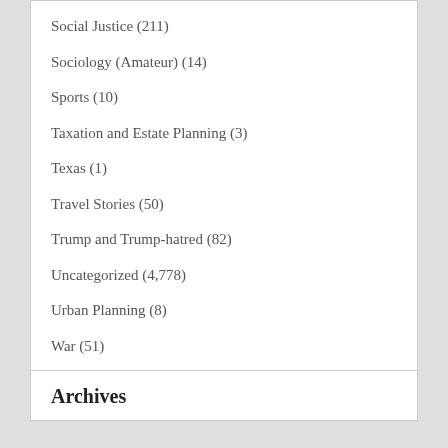Social Justice (211)
Sociology (Amateur) (14)
Sports (10)
Taxation and Estate Planning (3)
Texas (1)
Travel Stories (50)
Trump and Trump-hatred (82)
Uncategorized (4,778)
Urban Planning (8)
War (51)
Archives